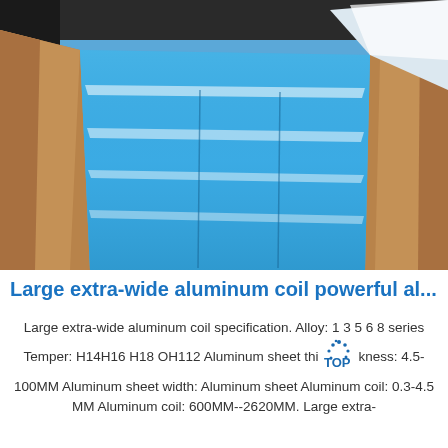[Figure (photo): Photograph of large extra-wide blue aluminum coil/sheet laid flat, with reflective surface showing white light reflections, surrounded by brown kraft paper packaging on the sides, in a warehouse/factory setting.]
Large extra-wide aluminum coil powerful al...
Large extra-wide aluminum coil specification. Alloy: 1 3 5 6 8 series Temper: H14H16 H18 OH112 Aluminum sheet thickness: 4.5-100MM Aluminum sheet width: Aluminum sheet Aluminum coil: 0.3-4.5 MM Aluminum coil: 600MM--2620MM. Large extra-